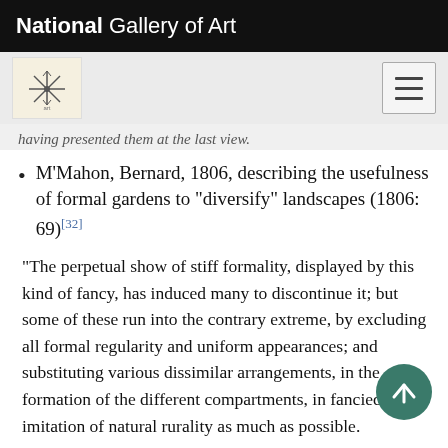National Gallery of Art
having presented them at the last view.
M’Mahon, Bernard, 1806, describing the usefulness of formal gardens to “diversify” landscapes (1806: 69)[32]
“The perpetual show of stiff formality, displayed by this kind of fancy, has induced many to discontinue it; but some of these run into the contrary extreme, by excluding all formal regularity and uniform appearances; and substituting various dissimilar arrangements, in the formation of the differe… compartments, in fancied imitation of natural rurality as much as possible.